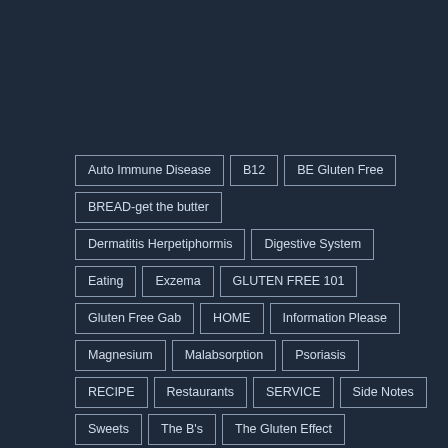Auto Immune Disease
B12
BE Gluten Free
BREAD-get the butter
Dermatitis Herpetiphormis
Digestive System
Eating
Exzema
GLUTEN FREE 101
Gluten Free Gab
HOME
Information Please
Magnesium
Malabsorption
Psoriasis
RECIPE
Restaurants
SERVICE
Side Notes
Sweets
The B's
The Gluten Effect
The Main Thang
Traveling
Vitamin A